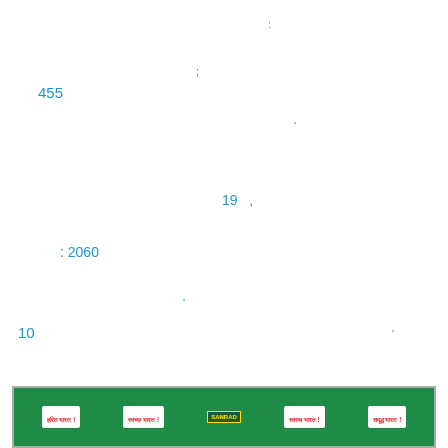:
;
455
'
19 ,
: 2060
'
10
'
[Figure (other): Green banner with Hindi text items: हरित भारत!, स्वच्छ भारत!, स्वस्थ भारत!, समृद्ध भारत! with logo]